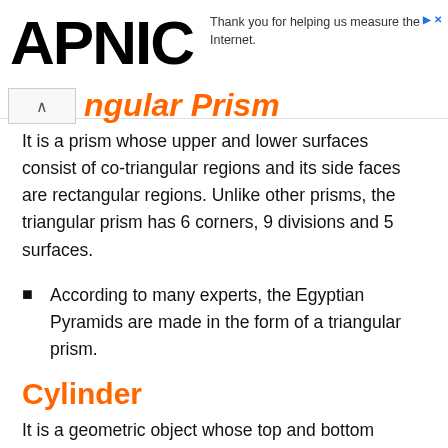APNIC — Thank you for helping us measure the Internet.
…angular Prism
It is a prism whose upper and lower surfaces consist of co-triangular regions and its side faces are rectangular regions. Unlike other prisms, the triangular prism has 6 corners, 9 divisions and 5 surfaces.
According to many experts, the Egyptian Pyramids are made in the form of a triangular prism.
Cylinder
It is a geometric object whose top and bottom surfaces are equidistant and the sides are curved. The opening of the cylinder has two identical circles and a rectangular region. The roller has no separate and corner.